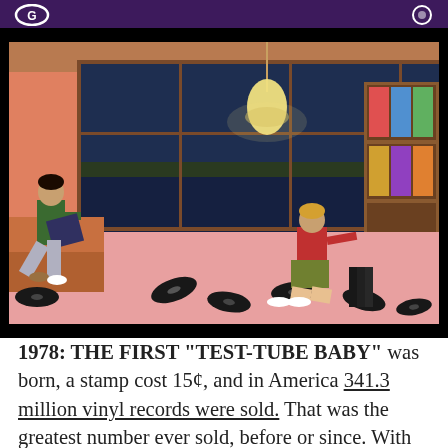[Figure (illustration): Digital illustration of a retro living room scene with two figures surrounded by vinyl records scattered on a pink floor. One figure sits on a couch reading a record sleeve, another kneels near a record player and shelves filled with vinyl albums. Large windows show a twilight lakeside view. A pendant lamp glows overhead.]
1978: THE FIRST “TEST-TUBE BABY” was born, a stamp cost 15¢, and in America 341.3 million vinyl records were sold. That was the greatest number ever sold, before or since. With the rise of the cassette tape, followed by the CD, and the ensuing digital music revolution to come,